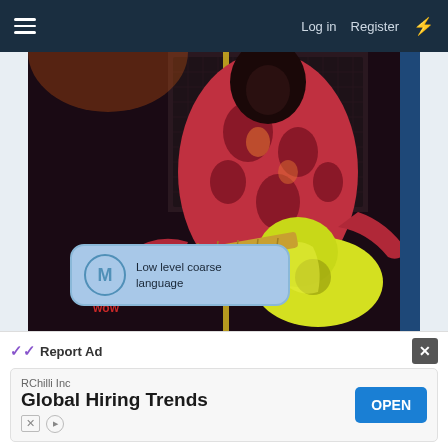Log in  Register
[Figure (photo): Concert photo of a guitarist in a colorful red patterned shirt performing on stage with a yellow/green electric guitar. Stage lighting creates dramatic effect.]
M  Low level coarse language
[Figure (photo): Bottom strip showing a vinyl record with album art featuring a performer with an afro hairstyle, against a sunburst yellow/pink/purple background.]
Report Ad
RChilli Inc
Global Hiring Trends
OPEN